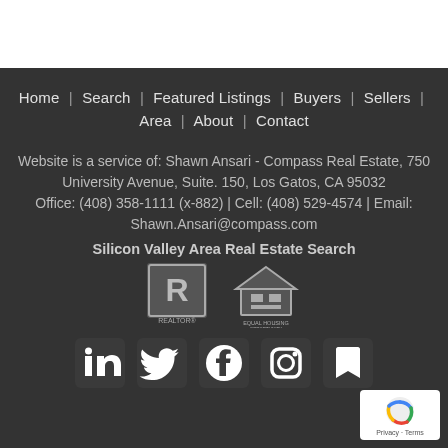Home | Search | Featured Listings | Buyers | Sellers | Area | About | Contact
Website is a service of: Shawn Ansari - Compass Real Estate, 750 University Avenue, Suite. 150, Los Gatos, CA 95032
Office: (408) 358-1111 (x-882) | Cell: (408) 529-4574 | Email: Shawn.Ansari@compass.com
Silicon Valley Area Real Estate Search
[Figure (logo): REALTOR logo and Equal Housing Opportunity logo]
[Figure (infographic): Social media icons: LinkedIn, Twitter, Facebook, Instagram, Bookmark/Save. reCAPTCHA badge in bottom right.]